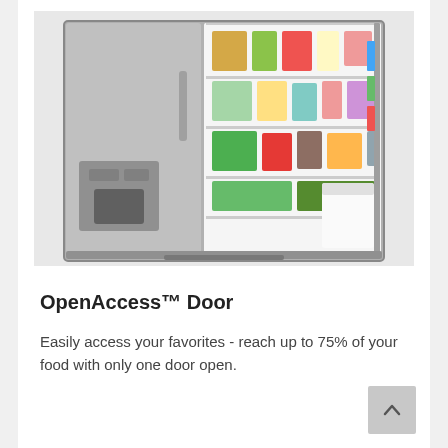[Figure (photo): A stainless steel French door refrigerator with both doors open, showing shelves filled with food, beverages, condiments, vegetables, and a large white jug in the door. The refrigerator has an ice and water dispenser on the left door.]
OpenAccess™ Door
Easily access your favorites - reach up to 75% of your food with only one door open.